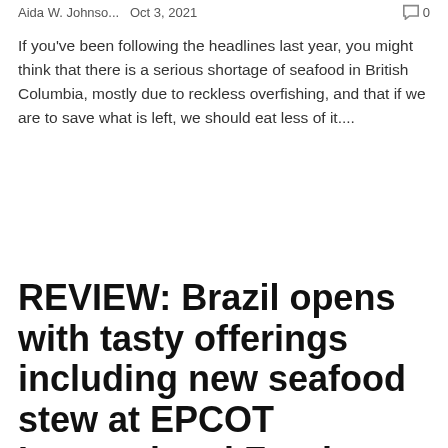Aida W. Johnso...   Oct 3, 2021   🗨 0
If you've been following the headlines last year, you might think that there is a serious shortage of seafood in British Columbia, mostly due to reckless overfishing, and that if we are to save what is left, we should eat less of it....
REVIEW: Brazil opens with tasty offerings including new seafood stew at EPCOT International Food and...